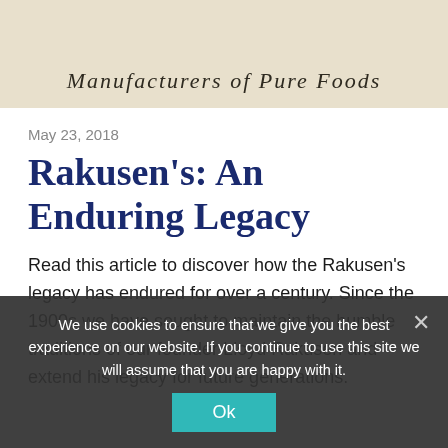[Figure (illustration): Header image with beige/cream background showing 'Manufacturers of Pure Foods' in italic serif text]
May 23, 2018
Rakusen's: An Enduring Legacy
Read this article to discover how the Rakusen's legacy has endured for over a century. Since the 1900s we have sought to maintain the humble traditions of our founder Lloyd Rakusen and extend his legacy for future generations.
We use cookies to ensure that we give you the best experience on our website. If you continue to use this site we will assume that you are happy with it.